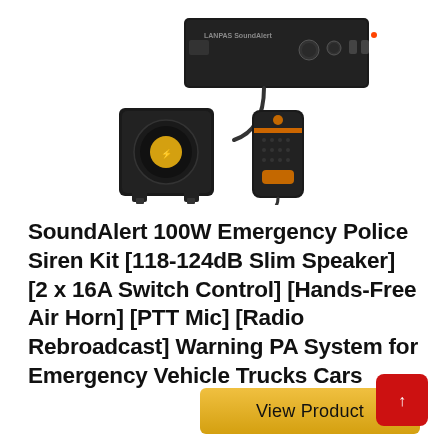[Figure (photo): Product photo showing a SoundAlert 100W emergency police siren kit with a black rectangular control unit, a compact square horn speaker, and a handheld PTT microphone with coiled cable.]
SoundAlert 100W Emergency Police Siren Kit [118-124dB Slim Speaker] [2 x 16A Switch Control] [Hands-Free Air Horn] [PTT Mic] [Radio Rebroadcast] Warning PA System for Emergency Vehicle Trucks Cars